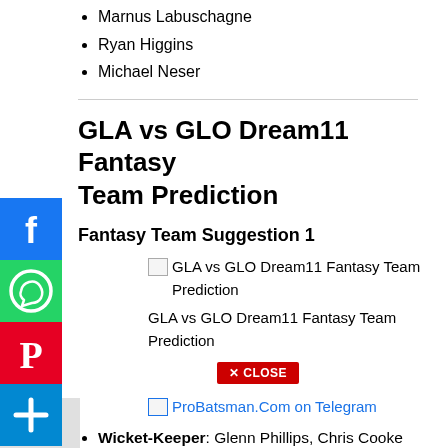Marnus Labuschagne
Ryan Higgins
Michael Neser
GLA vs GLO Dream11 Fantasy Team Prediction
Fantasy Team Suggestion 1
[Figure (other): GLA vs GLO Dream11 Fantasy Team Prediction image placeholder]
GLA vs GLO Dream11 Fantasy Team Prediction
[Figure (other): Close button overlay]
[Figure (other): ProBatsman.Com on Telegram link with image placeholder]
Wicket-Keeper: Glenn Phillips, Chris Cooke
Batsmen: Jack Taylor, Kiran Carlson, Sam